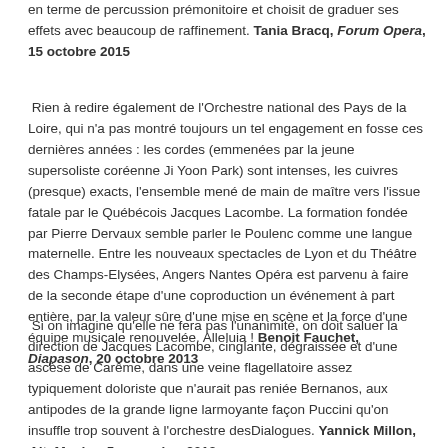en terme de percussion prémonitoire et choisit de graduer ses effets avec beaucoup de raffinement. Tania Bracq, Forum Opera, 15 octobre 2015
Rien à redire également de l'Orchestre national des Pays de la Loire, qui n'a pas montré toujours un tel engagement en fosse ces dernières années : les cordes (emmenées par la jeune supersoliste coréenne Ji Yoon Park) sont intenses, les cuivres (presque) exacts, l'ensemble mené de main de maître vers l'issue fatale par le Québécois Jacques Lacombe. La formation fondée par Pierre Dervaux semble parler le Poulenc comme une langue maternelle. Entre les nouveaux spectacles de Lyon et du Théâtre des Champs-Elysées, Angers Nantes Opéra est parvenu à faire de la seconde étape d'une coproduction un événement à part entière, par la valeur sûre d'une mise en scène et la force d'une équipe musicale renouvelée. Alleluia ! Benoit Fauchet, Diapason, 20 octobre 2013
Si on imagine qu'elle ne fera pas l'unanimité, on doit saluer la direction de Jacques Lacombe, cinglante, dégraissée et d'une ascèse de Carême, dans une veine flagellatoire assez typiquement doloriste que n'aurait pas reniée Bernanos, aux antipodes de la grande ligne larmoyante façon Puccini qu'on insuffle trop souvent à l'orchestre desDialogues. Yannick Millon, AltaMusica, 5 novembre 2013